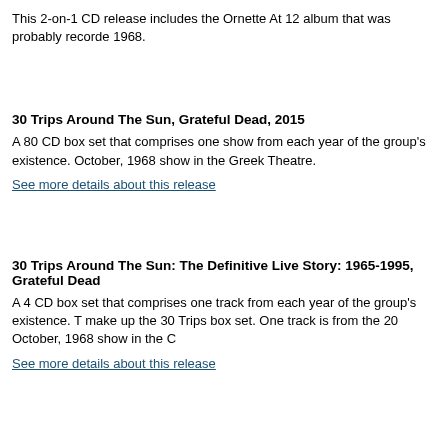This 2-on-1 CD release includes the Ornette At 12 album that was probably recorded 1968.
30 Trips Around The Sun, Grateful Dead, 2015
A 80 CD box set that comprises one show from each year of the group's existence. October, 1968 show in the Greek Theatre.
See more details about this release
30 Trips Around The Sun: The Definitive Live Story: 1965-1995, Grateful Dead
A 4 CD box set that comprises one track from each year of the group's existence. T make up the 30 Trips box set. One track is from the 20 October, 1968 show in the G
See more details about this release